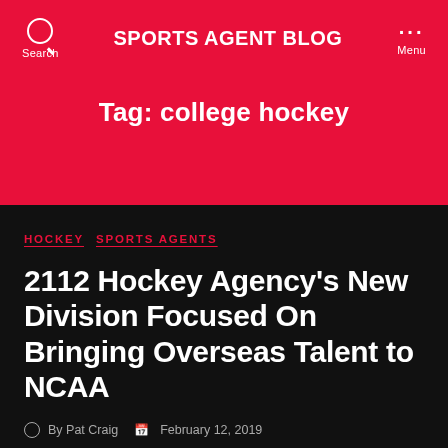SPORTS AGENT BLOG
Tag: college hockey
HOCKEY  SPORTS AGENTS
2112 Hockey Agency's New Division Focused On Bringing Overseas Talent to NCAA
By Pat Craig  February 12, 2019